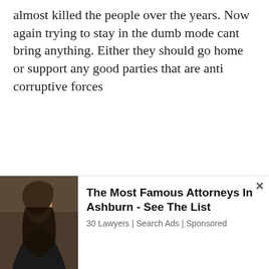almost killed the people over the years. Now again trying to stay in the dumb mode cant bring anything. Either they should go home or support any good parties that are anti corruptive forces
[Figure (illustration): Geometric avatar/profile picture made of blue diamond and triangle pattern tiles]
Snowden Edward Asange / February 14, 2015
[Figure (infographic): Thumbs up button (green) with count 4, thumbs down button (red) with count 2, and an X close button]
[Figure (photo): Advertisement showing a woman attorney photo on the left]
The Most Famous Attorneys In Ashburn - See The List
30 Lawyers | Search Ads | Sponsored